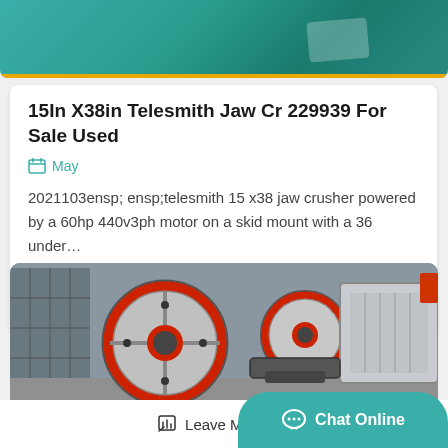[Figure (photo): Top banner image showing green/teal industrial surface with yellow stripe at bottom]
15In X38in Telesmith Jaw Cr 229939 For Sale Used
May
2021103ensp; ensp;telesmith 15 x38 jaw crusher powered by a 60hp 440v3ph motor on a skid mount with a 36 under…
Get Price
[Figure (photo): Industrial jaw crusher machinery with large flywheels with red accents, photographed in a factory/warehouse setting]
Leave Message
Chat Online